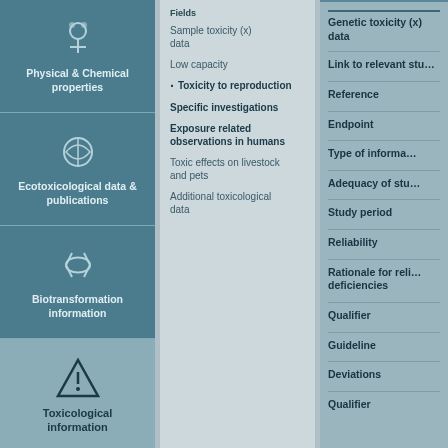[Figure (infographic): Left navigation column with icons for Physical & Chemical properties, Ecotoxicological data & publications, Biotransformation information, Toxicological information, and two more teal icon blocks below]
Sample toxicity (x) data
Low capacity
Toxicity to reproduction
Specific investigations
Exposure related observations in humans
Toxic effects on livestock and pets
Additional toxicological data
Genetic toxicity (x) data
Link to relevant study
Reference
Endpoint
Type of information
Adequacy of study
Study period
Reliability
Rationale for reliability deficiencies
Qualifier
Guideline
Deviations
Qualifier